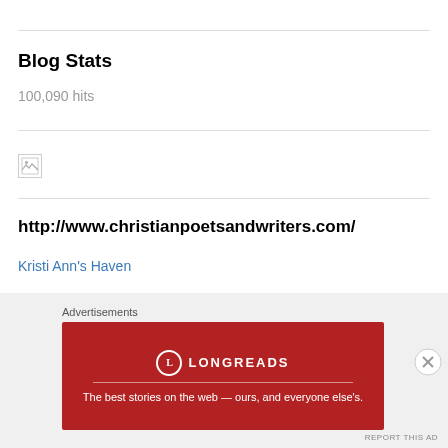Blog Stats
100,090 hits
[Figure (other): Broken image icon (small thumbnail with broken image indicator)]
http://www.christianpoetsandwriters.com/
Kristi Ann's Haven
Blogroll
Advertisements
[Figure (other): Longreads advertisement banner in dark red/crimson: logo circle with L, LONGREADS text, tagline 'The best stories on the web — ours, and everyone else's.']